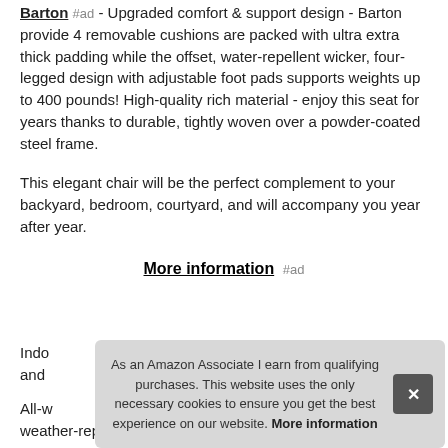Barton #ad – Upgraded comfort & support design - Barton provide 4 removable cushions are packed with ultra extra thick padding while the offset, water-repellent wicker, four-legged design with adjustable foot pads supports weights up to 400 pounds! High-quality rich material - enjoy this seat for years thanks to durable, tightly woven over a powder-coated steel frame.
This elegant chair will be the perfect complement to your backyard, bedroom, courtyard, and will accompany you year after year.
More information #ad
Indo and
All-w weather-repellent cushions make this seat a natural addition
[Figure (screenshot): Cookie consent overlay banner with text: 'As an Amazon Associate I earn from qualifying purchases. This website uses the only necessary cookies to ensure you get the best experience on our website. More information' and a close (X) button on the right.]